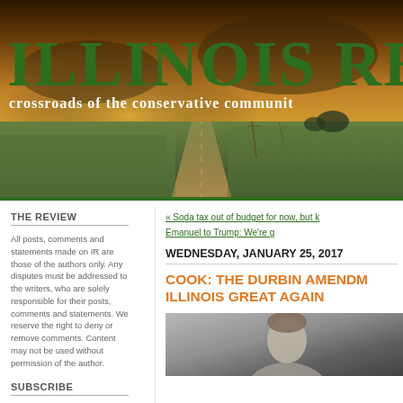ILLINOIS REVIEW
crossroads of the conservative community
[Figure (photo): Illinois rural road banner photo with fields on either side leading to horizon, golden sunset sky]
THE REVIEW
All posts, comments and statements made on IR are those of the authors only. Any disputes must be addressed to the writers, who are solely responsible for their posts, comments and statements. We reserve the right to deny or remove comments. Content may not be used without permission of the author.
SUBSCRIBE
Enter your email below to receive daily clips:
« Soda tax out of budget for now, but k
Emanuel to Trump: We're g
WEDNESDAY, JANUARY 25, 2017
COOK: THE DURBIN AMENDMENT... ILLINOIS GREAT AGAIN